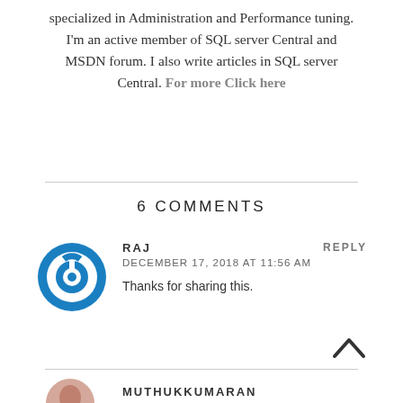specialized in Administration and Performance tuning. I'm an active member of SQL server Central and MSDN forum. I also write articles in SQL server Central. For more Click here
6 COMMENTS
RAJ
DECEMBER 17, 2018 AT 11:56 AM
Thanks for sharing this.
REPLY
MUTHUKKUMARAN